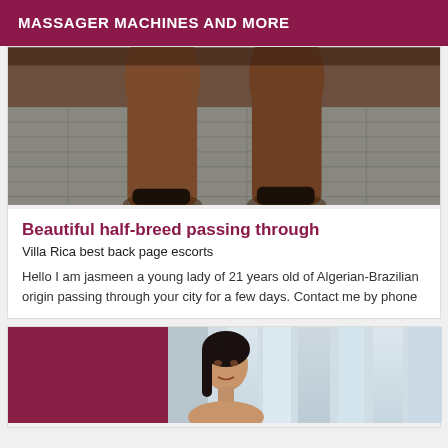MASSAGER MACHINES AND MORE
[Figure (photo): Close-up photo showing legs/lower body on a tiled floor background]
Beautiful half-breed passing through
Villa Rica best back page escorts
Hello I am jasmeen a young lady of 21 years old of Algerian-Brazilian origin passing through your city for a few days. Contact me by phone
[Figure (photo): Photo of a dark-haired woman standing near white curtains/window]